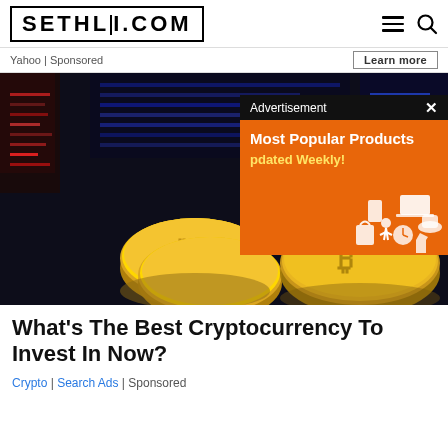SETHLUI.COM
Yahoo | Sponsored
Learn more
[Figure (photo): Hero image of Bitcoin gold coins against a dark blurred background of financial trading screens, with an orange advertisement overlay reading 'Most Popular Products Updated Weekly!']
What's The Best Cryptocurrency To Invest In Now?
Crypto | Search Ads | Sponsored